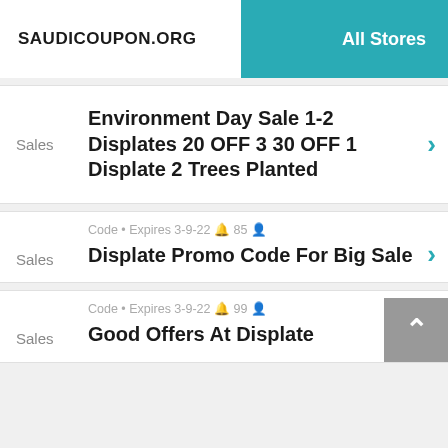SAUDICOUPON.ORG | All Stores
Sales | Environment Day Sale 1-2 Displates 20 OFF 3 30 OFF 1 Displate 2 Trees Planted
Sales | Code • Expires 3-9-22 🔔 85 👤 | Displate Promo Code For Big Sale
Sales | Code • Expires 3-9-22 🔔 99 👤 | Good Offers At Displate